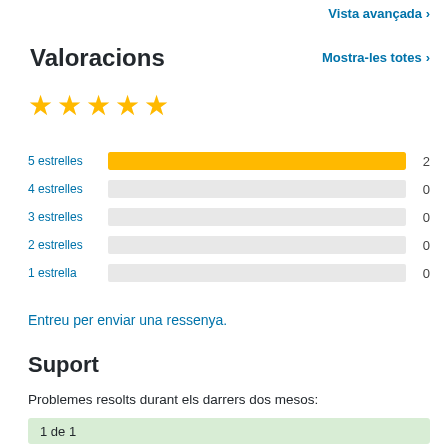Vista avançada
Valoracions
Mostra-les totes ›
[Figure (other): Five gold stars rating display]
[Figure (bar-chart): Star rating distribution]
Entreu per enviar una ressenya.
Suport
Problemes resolts durant els darrers dos mesos:
1 de 1